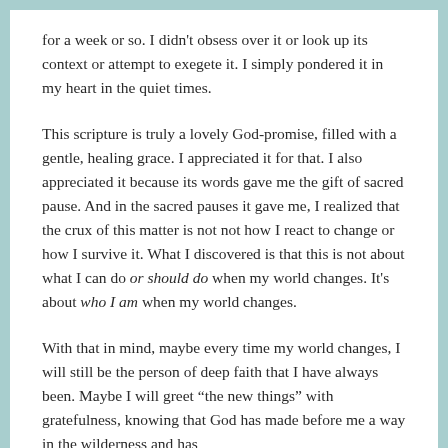for a week or so. I didn't obsess over it or look up its context or attempt to exegete it. I simply pondered it in my heart in the quiet times.
This scripture is truly a lovely God-promise, filled with a gentle, healing grace. I appreciated it for that. I also appreciated it because its words gave me the gift of sacred pause. And in the sacred pauses it gave me, I realized that the crux of this matter is not not how I react to change or how I survive it. What I discovered is that this is not about what I can do or should do when my world changes. It's about who I am when my world changes.
With that in mind, maybe every time my world changes, I will still be the person of deep faith that I have always been. Maybe I will greet “the new things” with gratefulness, knowing that God has made before me a way in the wilderness and has